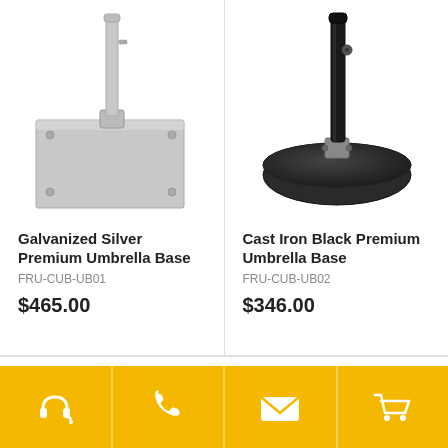[Figure (photo): Galvanized Silver Premium Umbrella Base product image: square silver metal plate with a vertical silver pole]
Galvanized Silver Premium Umbrella Base
FRU-CUB-UB01
$465.00
[Figure (photo): Cast Iron Black Premium Umbrella Base product image: round black disc with a black vertical pole]
Cast Iron Black Premium Umbrella Base
FRU-CUB-UB02
$346.00
[Figure (infographic): Gold footer bar with four icons: headset/support, phone, email envelope, shopping cart]